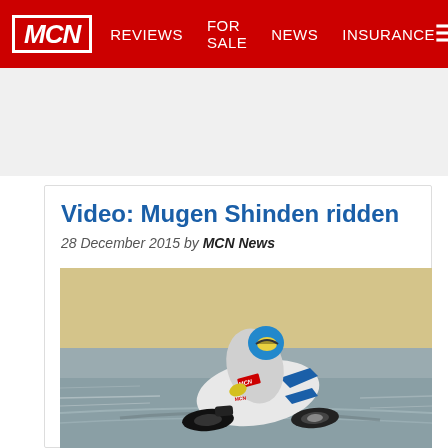MCN  REVIEWS  FOR SALE  NEWS  INSURANCE
Video: Mugen Shinden ridden
28 December 2015 by MCN News
[Figure (photo): A motorcycle racer in MCN-branded leathers and colorful helmet leans aggressively through a corner on the Mugen Shinden electric motorcycle on a race track. The bike is white and black with blue accents, and the track surface and sandy runoff area are visible.]